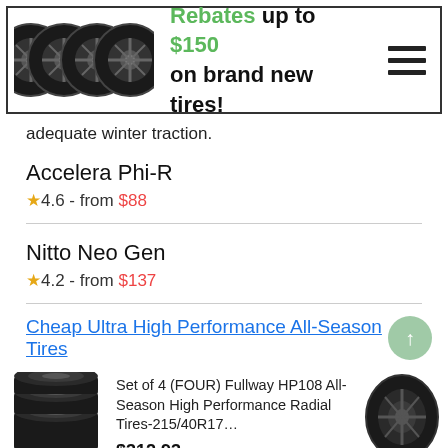[Figure (illustration): Banner with four tire wheels on left, bold text 'Rebates up to $150 on brand new tires!' in center, hamburger menu icon on right]
adequate winter traction.
Accelera Phi-R
★4.6 - from $88
Nitto Neo Gen
★4.2 - from $137
Cheap Ultra High Performance All-Season Tires
Set of 4 (FOUR) Fullway HP108 All-Season High Performance Radial Tires-215/40R17… $312.93 ★★★★★